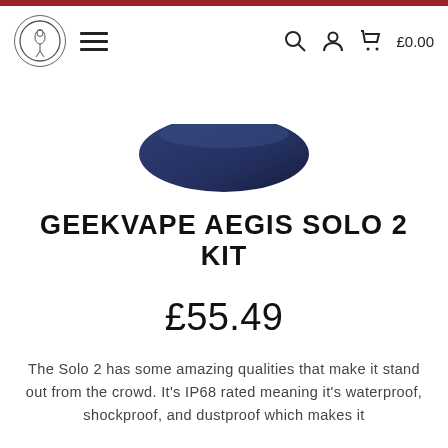Navigation bar with logo, hamburger menu, search, account, and cart (£0.00)
[Figure (photo): Partial view of the Geekvape Aegis Solo 2 Kit product — dark navy blue curved device shown from above, cropped at the top of the product image area]
GEEKVAPE AEGIS SOLO 2 KIT
£55.49
The Solo 2 has some amazing qualities that make it stand out from the crowd. It's IP68 rated meaning it's waterproof, shockproof, and dustproof which makes it